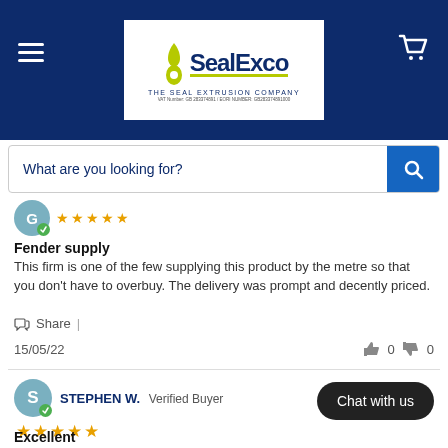[Figure (logo): SealExco - The Seal Extrusion Company logo on dark blue header background with hamburger menu and cart icon]
[Figure (screenshot): Search bar with placeholder text 'What are you looking for?' and blue search button]
Fender supply
This firm is one of the few supplying this product by the metre so that you don't have to overbuy. The delivery was prompt and decently priced.
Share
15/05/22
0   0
STEPHEN W.  Verified Buyer
Excellent
Excellent
[Figure (other): Chat with us button]